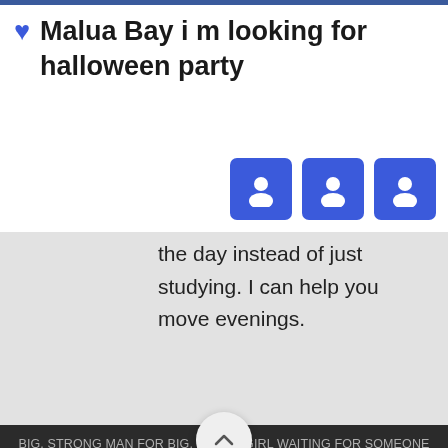♥ Malua Bay i m looking for halloween party
[Figure (illustration): Three blue square user profile icon buttons in a row]
the day instead of just studying. I can help you move evenings.
[Figure (illustration): Circular white chevron/up-arrow button]
BIG, STRONG MAN FOR BIG, CURVY GIRL WAITING FOR SOMEONE WHO WANTS TO LAUGH, PLAY, LIVE, LEARN AND WAKE UP TOGETHER. LAST SUNDAY AT HBG LAST SUNDAY AFTERNOON THERE WAS A NICE ASIAN LADY HELPING DISCHARGE SOMEONE FROM THE 7TH. © COPYRIGHT 2022